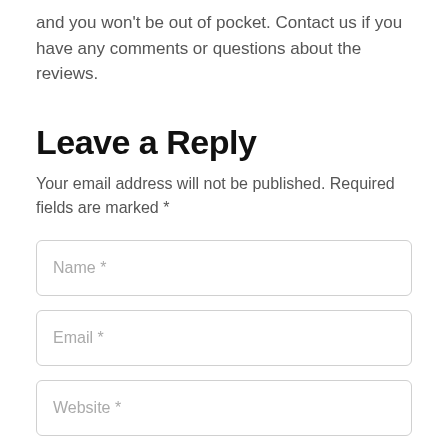and you won't be out of pocket. Contact us if you have any comments or questions about the reviews.
Leave a Reply
Your email address will not be published. Required fields are marked *
Name *
Email *
Website *
Comment *